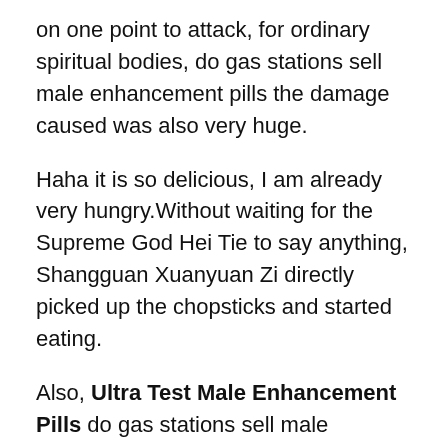on one point to attack, for ordinary spiritual bodies, do gas stations sell male enhancement pills the damage caused was also very huge.
Haha it is so delicious, I am already very hungry.Without waiting for the Supreme God Hei Tie to say anything, Shangguan Xuanyuan Zi directly picked up the chopsticks and started eating.
Also, Ultra Test Male Enhancement Pills do gas stations sell male enhancement pills when you were in the Flying Immortal Sect, Zhao Ling, did not you also see my abilities Why are you going back on your word now Zhao Ling has always been afraid to look back, because she is worried that once she turns her head, she may become soft hearted, so no matter what the reason is at this time, she has to be hard hearted, No need, you do not need to show it, your ability does not help us at all, you better go and find a safe place to live again, you do not